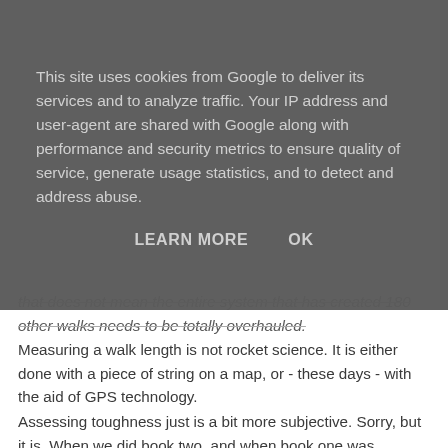This site uses cookies from Google to deliver its services and to analyze traffic. Your IP address and user-agent are shared with Google along with performance and security metrics to ensure quality of service, generate usage statistics, and to detect and address abuse.
LEARN MORE    OK
that does not mean the entire system that has created 180 other walks needs to be totally overhauled.
Measuring a walk length is not rocket science. It is either done with a piece of string on a map, or - these days - with the aid of GPS technology.
Assessing toughness just is a bit more subjective. Sorry, but it is. When we did book two, and when book one was recently revised, huge efforts were put into making all the toughness ratings accurate, but even today I do one of my walks and revise the toughness up or down. There is NO objective criteria, only choices. You can measure height gained, but height gained is not the only thing. Climb Shoulder of Mutton Hill near Petersfield and you gain height